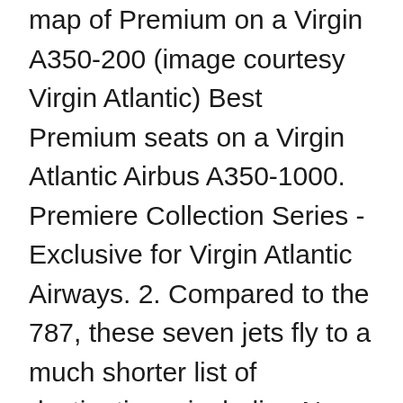map of Premium on a Virgin A350-200 (image courtesy Virgin Atlantic) Best Premium seats on a Virgin Atlantic Airbus A350-1000. Premiere Collection Series - Exclusive for Virgin Atlantic Airways. 2. Compared to the 787, these seven jets fly to a much shorter list of destinations, including New York, Lagos, and Los Angeles. The lounge's entrance is one floor above the main concourse, and reached by a majestic grey-marble staircase. Virgin Atlantic Fleet Airbus A340-600 Cabin Interior Class Configuration and Seats Layout. Search flights today. A peek inside Virgin Atlantic A330-300 aircraft and a discussion of the pending alliance between Delta Airlines and Virgin Atlantic. The Boeing 787-9 has been part of the Virgin Atlantic